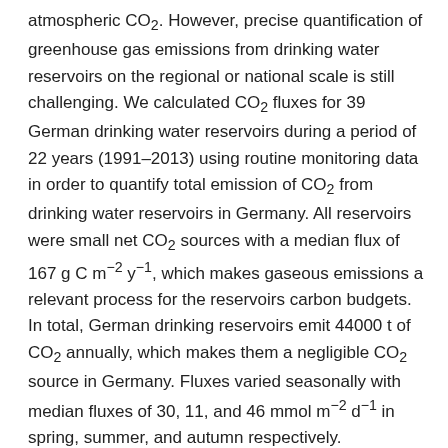atmospheric CO₂. However, precise quantification of greenhouse gas emissions from drinking water reservoirs on the regional or national scale is still challenging. We calculated CO₂ fluxes for 39 German drinking water reservoirs during a period of 22 years (1991–2013) using routine monitoring data in order to quantify total emission of CO₂ from drinking water reservoirs in Germany. All reservoirs were small net CO₂ sources with a median flux of 167 g C m⁻² y⁻¹, which makes gaseous emissions a relevant process for the reservoirs carbon budgets. In total, German drinking reservoirs emit 44000 t of CO₂ annually, which makes them a negligible CO₂ source in Germany. Fluxes varied seasonally with median fluxes of 30, 11, and 46 mmol m⁻² d⁻¹ in spring, summer, and autumn respectively. Differences between reservoirs appeared to be primarily caused by the concentration of CO₂ in the surface water rather than by the physical gas transfer coefficient. Consideration of short term fluctuations of the gas transfer